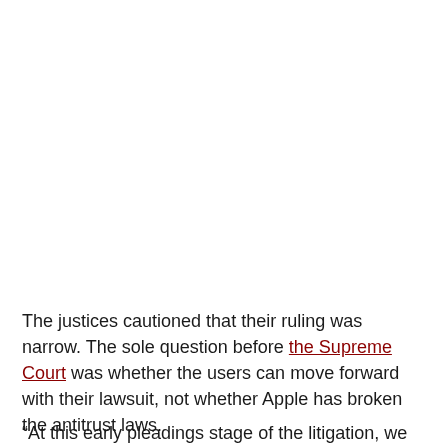The justices cautioned that their ruling was narrow. The sole question before the Supreme Court was whether the users can move forward with their lawsuit, not whether Apple has broken the antitrust laws.
“At this early pleadings stage of the litigation, we do not